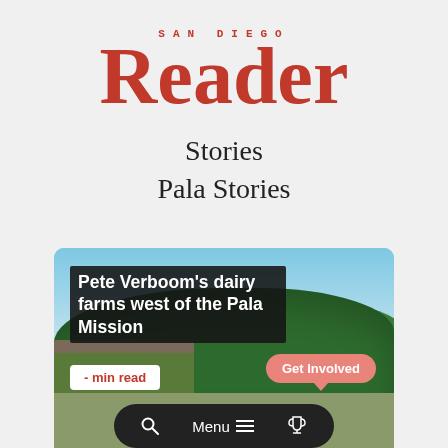[Figure (logo): San Diego Reader logo in red: small uppercase 'SAN DIEGO' above large serif 'Reader']
Stories
Pala Stories
[Figure (screenshot): Mobile app screenshot showing San Diego Reader article: 'Pete Verboom's dairy farms west of the Pala Mission' with photo of rural scene, trees, blue sky, a building. Shows '- min read' badge, 'Get Involved' salmon button, and dark pill-shaped navigation bar with search, Menu, and trophy icons.]